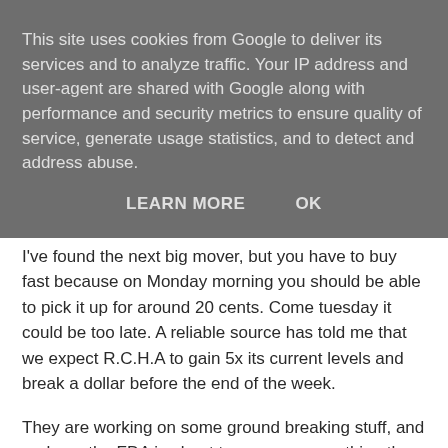This site uses cookies from Google to deliver its services and to analyze traffic. Your IP address and user-agent are shared with Google along with performance and security metrics to ensure quality of service, generate usage statistics, and to detect and address abuse.
LEARN MORE    OK
I've found the next big mover, but you have to buy fast because on Monday morning you should be able to pick it up for around 20 cents. Come tuesday it could be too late. A reliable source has told me that we expect R.C.H.A to gain 5x its current levels and break a dollar before the end of the week.
They are working on some ground breaking stuff, and perhaps the FDA is about to approve something they have been working on?
I come across a situation like this very few times per decade